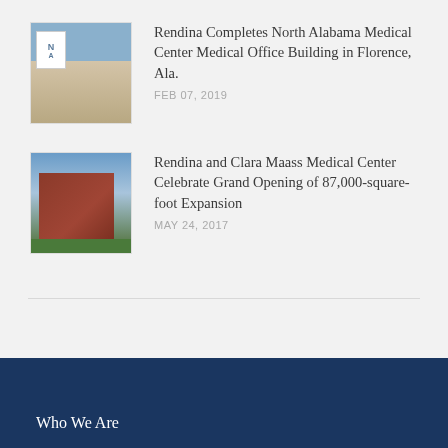[Figure (photo): Thumbnail photo of North Alabama Medical Center medical office building exterior]
Rendina Completes North Alabama Medical Center Medical Office Building in Florence, Ala.
FEB 07, 2019
[Figure (photo): Thumbnail photo of Clara Maass Medical Center brick building exterior]
Rendina and Clara Maass Medical Center Celebrate Grand Opening of 87,000-square-foot Expansion
MAY 24, 2017
Who We Are